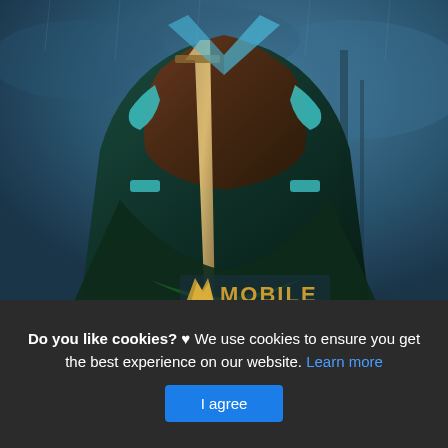[Figure (screenshot): Mobile Legends game screenshot showing a dark warrior/swordsman character with teal and brown armor holding a large sword, set against a stormy dark blue background. The text 'MOBILE' is visible at the bottom of the image in golden letters with a logo mark.]
Do you like cookies? ♥ We use cookies to ensure you get the best experience on our website. Learn more
I agree